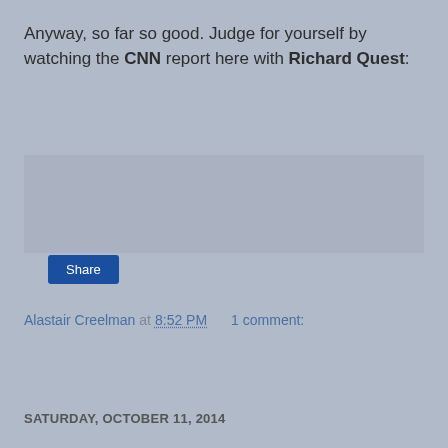Anyway, so far so good. Judge for yourself by watching the CNN report here with Richard Quest:
[Figure (screenshot): Embedded video placeholder area with light blue-grey background]
Alastair Creelman at 8:52 PM    1 comment:
Share
SATURDAY, OCTOBER 11, 2014